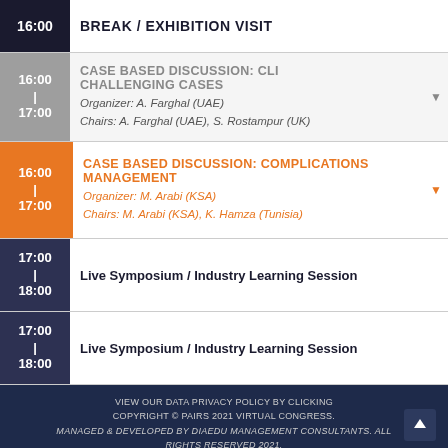16:00 | BREAK / EXHIBITION VISIT
16:00 | 17:00 CASE BASED DISCUSSION: CLI CHALLENGING CASES — Organizer: A. Farghal (UAE) — Chairs: A. Farghal (UAE), S. Rostampur (UK)
16:00 | 17:00 CASE BASED DISCUSSION: COMPLICATIONS MANAGEMENT — Organizer: M. Arabi (KSA) — Chairs: M. Arabi (KSA), K. Hamza (Tunisia)
17:00 | 18:00 Live Symposium / Industry Learning Session
17:00 | 18:00 Live Symposium / Industry Learning Session
VIEW OUR DATA PRIVACY POLICY BY CLICKING COPYRIGHT © PAIRS 2021 VIRTUAL CONGRESS. MANAGED & DEVELOPED BY DIAEDU MANAGEMENT CONSULTANTS. ALL RIGHTS RESERVED 2021.